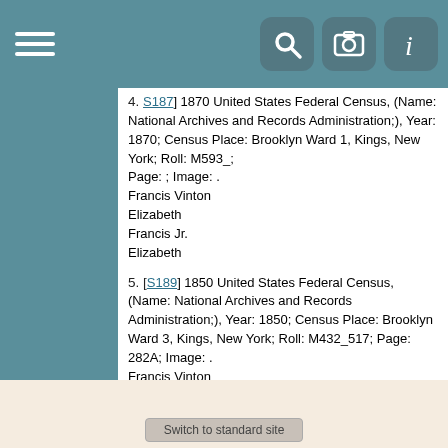4. [S187] 1870 United States Federal Census, (Name: National Archives and Records Administration;), Year: 1870; Census Place: Brooklyn Ward 1, Kings, New York; Roll: M593_; Page: ; Image: .
Francis Vinton
Elizabeth
Francis Jr.
Elizabeth
5. [S189] 1850 United States Federal Census, (Name: National Archives and Records Administration;), Year: 1850; Census Place: Brooklyn Ward 3, Kings, New York; Roll: M432_517; Page: 282A; Image: .
Francis Vinton
Elizabeth
Francis
Henry
Elizabeth
Grace
6. [S476] Find-A-Grave, Francis Vinton 1872.
7. [S57] Find A Grave.
Switch to standard site